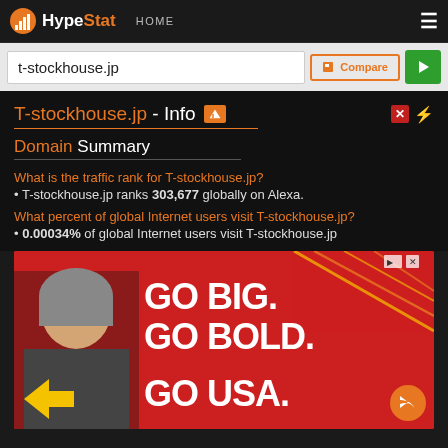HypeStat HOME
t-stockhouse.jp
T-stockhouse.jp - Info
Domain Summary
What is the traffic rank for T-stockhouse.jp?
• T-stockhouse.jp ranks 303,677 globally on Alexa.
What percent of global Internet users visit T-stockhouse.jp?
• 0.00034% of global Internet users visit T-stockhouse.jp
[Figure (photo): Advertisement banner with red background reading GO BIG. GO BOLD. GO USA. with a woman's photo on the left]